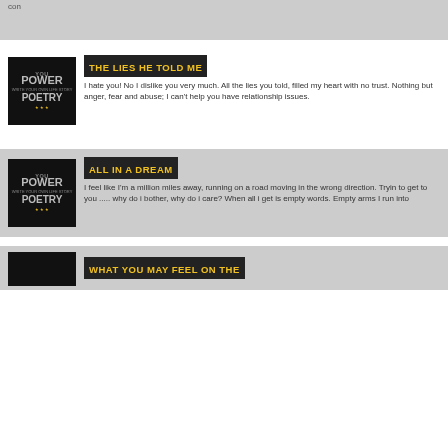con
THE LIES HE TOLD ME
I hate you! No I dislike you very much. All the lies you told, filled my heart with no trust. Nothing but anger, fear and abuse; I can't help you have relationship issues.
ALL IN A DREAM
I feel like I'm a million miles away, running on a road moving in the wrong direction. Tryin to get to you ..... why do i bother, why do i care? When all i get is empty words. Empty arms I run into
WHAT YOU MAY FEEL ON THE